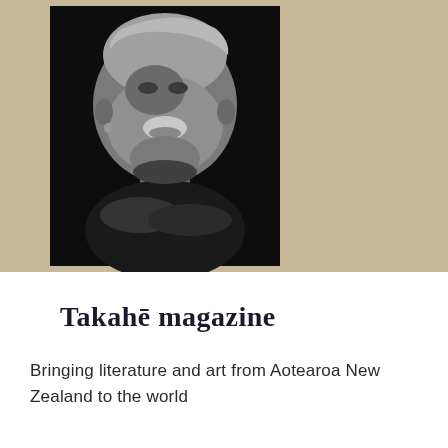[Figure (photo): Black and white portrait photograph of an elderly woman with short white hair, smiling warmly with her arms crossed and resting on a surface, set against a tan/beige background banner.]
Takahē magazine
Bringing literature and art from Aotearoa New Zealand to the world